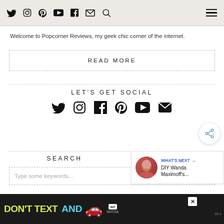Navigation bar with Twitter, Instagram, Pinterest, YouTube, Facebook, Email, Search icons and hamburger menu
Welcome to Popcorner Reviews, my geek chic corner of the internet.
READ MORE
LET'S GET SOCIAL
[Figure (infographic): Row of social media icons: Twitter, Instagram, Facebook, Pinterest, YouTube, Email]
SEARCH
Type some keywords...
[Figure (infographic): What's Next panel with circular profile photo and text: WHAT'S NEXT → DIY Wanda Maximoff's...]
[Figure (infographic): Ad banner: DON'T TEXT AND with car emoji, ad badge, NHTSA logo on black background]